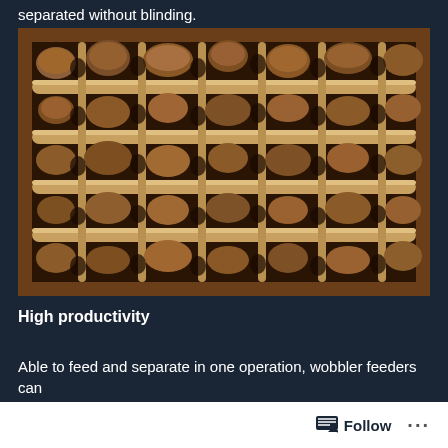separated without blinding.
[Figure (photo): Close-up photograph of a wobbler feeder showing rows of metal rods or shafts with irregularly shaped rocky/lumpy ore pieces sitting between the rods, viewed from above. The frame appears to be made of wood, and the metal shafts are cylindrical and arranged in parallel rows.]
High productivity
Able to feed and separate in one operation, wobbler feeders can